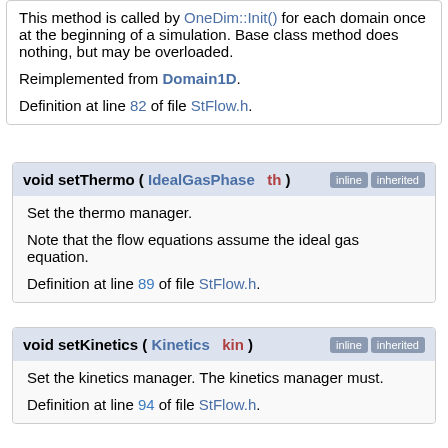This method is called by OneDim::Init() for each domain once at the beginning of a simulation. Base class method does nothing, but may be overloaded.

Reimplemented from Domain1D.

Definition at line 82 of file StFlow.h.
void setThermo ( IdealGasPhase &  th )
Set the thermo manager.

Note that the flow equations assume the ideal gas equation.

Definition at line 89 of file StFlow.h.
void setKinetics ( Kinetics &  kin )
Set the kinetics manager. The kinetics manager must.

Definition at line 94 of file StFlow.h.